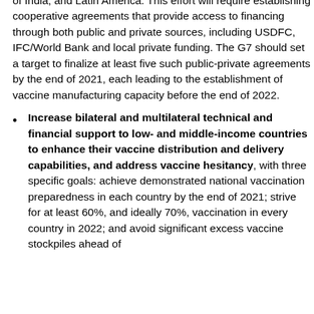of India, and Latin America. This effort will require establishing cooperative agreements that provide access to financing through both public and private sources, including USDFC, IFC/World Bank and local private funding. The G7 should set a target to finalize at least five such public-private agreements by the end of 2021, each leading to the establishment of vaccine manufacturing capacity before the end of 2022.
Increase bilateral and multilateral technical and financial support to low- and middle-income countries to enhance their vaccine distribution and delivery capabilities, and address vaccine hesitancy, with three specific goals: achieve demonstrated national vaccination preparedness in each country by the end of 2021; strive for at least 60%, and ideally 70%, vaccination in every country in 2022; and avoid significant excess vaccine stockpiles ahead of